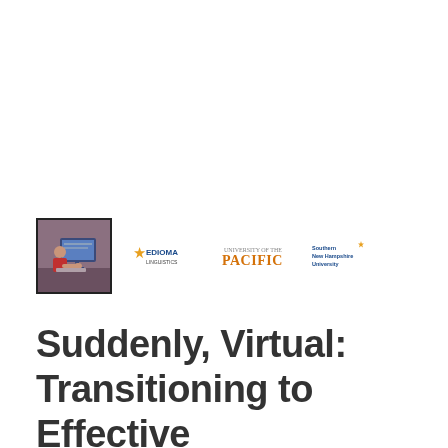[Figure (photo): Photo of a person working at a computer, framed with a black border, alongside logos for EDIOMA, University of the Pacific, and Southern New Hampshire University]
Suddenly, Virtual: Transitioning to Effective Online Teaching (ONLINE)